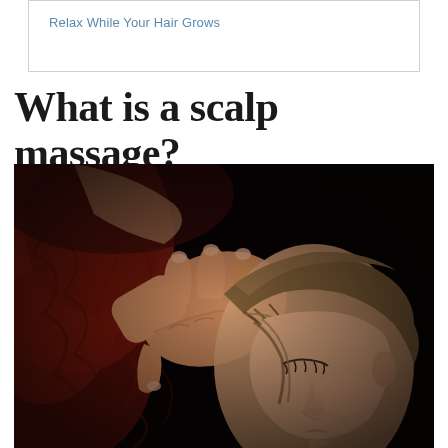Relax While Your Hair Grows
What is a scalp massage?
[Figure (photo): A person receiving a scalp massage. A hand with fingers spread is placed on the head of a young woman with blonde-brown hair who has her eyes closed and head tilted down, looking relaxed. The background features dark red/burgundy fabric and a dark setting.]